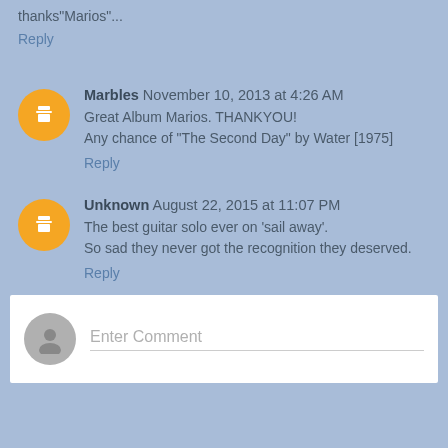thanks"Marios"...
Reply
Marbles  November 10, 2013 at 4:26 AM
Great Album Marios. THANKYOU!
Any chance of "The Second Day" by Water [1975]
Reply
Unknown  August 22, 2015 at 11:07 PM
The best guitar solo ever on 'sail away'.
So sad they never got the recognition they deserved.
Reply
Enter Comment